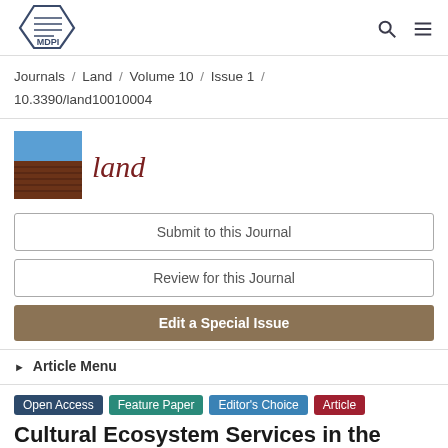[Figure (logo): MDPI logo — hexagonal outline with book pages icon and MDPI text]
Journals / Land / Volume 10 / Issue 1 / 10.3390/land10010004
[Figure (illustration): Land journal cover thumbnail — blue sky top half, brown plowed field bottom half]
land
Submit to this Journal
Review for this Journal
Edit a Special Issue
▶ Article Menu
Open Access  Feature Paper  Editor's Choice  Article
Cultural Ecosystem Services in the